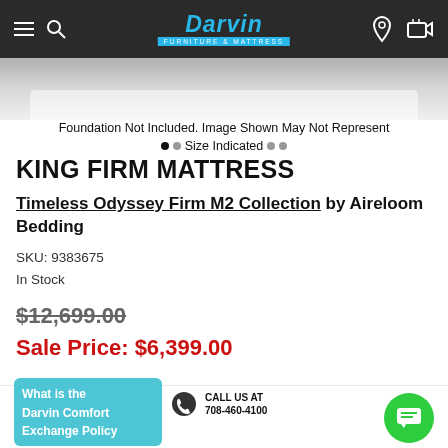Darvin Furniture & Mattress
[Figure (screenshot): Partial product image of a mattress, grey tones, top of mattress visible]
Foundation Not Included. Image Shown May Not Represent Size Indicated
KING FIRM MATTRESS
Timeless Odyssey Firm M2 Collection by Aireloom Bedding
SKU: 9383675
In Stock
$12,699.00
Sale Price: $6,399.00
VISIT OUR SHOWROOM
CALL US AT 708-460-4100
What is the Darvin Comfort Exchange Policy